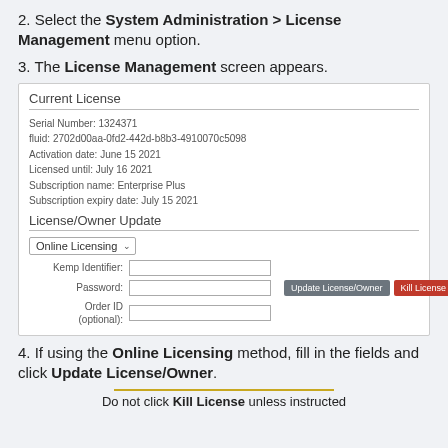2. Select the System Administration > License Management menu option.
3. The License Management screen appears.
[Figure (screenshot): License Management screen showing Current License details (Serial Number: 1324371, fluid, Activation date, Licensed until, Subscription name: Enterprise Plus, Subscription expiry date) and License/Owner Update section with Online Licensing dropdown, Kemp Identifier, Password, Order ID fields, and Update License/Owner and Kill License buttons.]
4. If using the Online Licensing method, fill in the fields and click Update License/Owner.
Do not click Kill License unless instructed